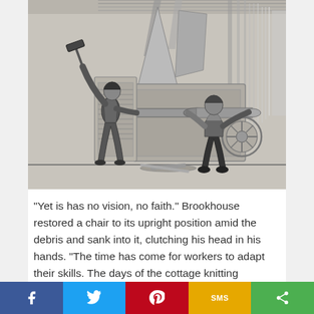[Figure (illustration): Black and white engraving/illustration of two workers using hammers or tools to operate or destroy textile machinery, likely depicting Luddite machine-breaking in a factory setting. One man on the left raises a large hammer overhead, while a second man on the right leans into the machinery.]
"Yet is has no vision, no faith." Brookhouse restored a chair to its upright position amid the debris and sank into it, clutching his head in his hands. "The time has come for workers to adapt their skills. The days of the cottage knitting frame...